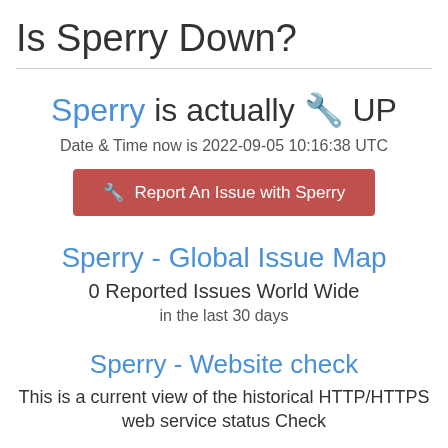Is Sperry Down?
Sperry is actually 🔧 UP
Date & Time now is 2022-09-05 10:16:38 UTC
🔧 Report An Issue with Sperry
Sperry - Global Issue Map
0 Reported Issues World Wide
in the last 30 days
Sperry - Website check
This is a current view of the historical HTTP/HTTPS web service status Check